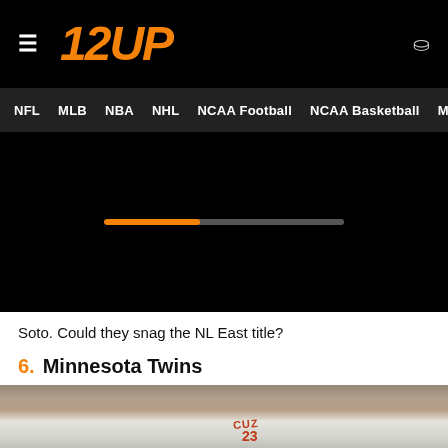12UP — NFL MLB NBA NHL NCAA Football NCAA Basketball MMA Boxing
[Figure (screenshot): Video player loading bar on black background with orange progress fill at approximately 40%]
Soto. Could they snag the NL East title?
6. Minnesota Twins
[Figure (photo): Baseball stadium photo showing Minnesota Twins players on the field with a large crowd in the background. A player wearing jersey number 23 with name CUZ is visible.]